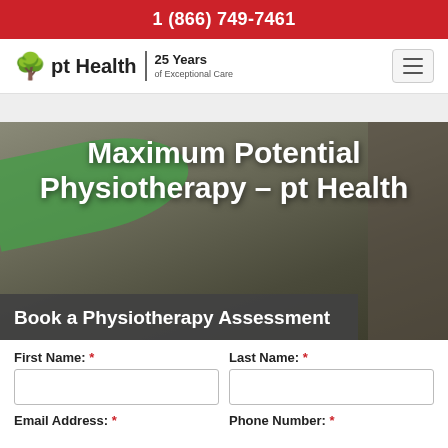1 (866) 749-7461
[Figure (logo): pt Health logo with red tree icon and '25 Years of Exceptional Care' tagline]
[Figure (photo): Physiotherapy clinic interior with green arc architectural element and dark overlay]
Maximum Potential Physiotherapy – pt Health
Book a Physiotherapy Assessment
First Name: * Last Name: *
Email Address: * Phone Number: *